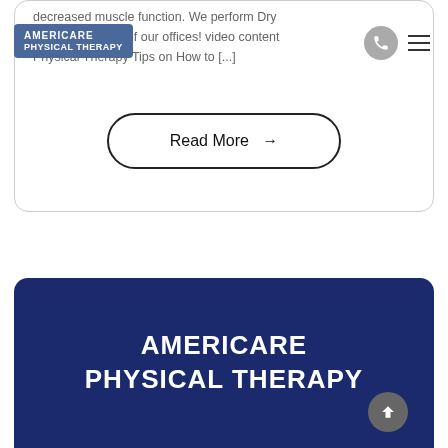[Figure (logo): AmeriCare Physical Therapy logo badge with blue-grey background, white text reading AMERICARE PHYSICAL THERAPY]
decreased muscle function. We perform Dry Needling in both of our offices! video content Physical Therapy Tips on How to [...]
Read More →
[Figure (logo): AmeriCare Physical Therapy logo in white text on dark navy blue background, large footer card]
AmeriCare Physical Therapy